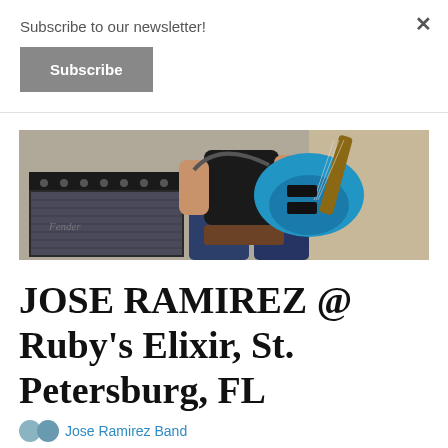Subscribe to our newsletter!
Subscribe
[Figure (photo): Person sitting and playing a blue electric guitar next to a black Fender amplifier against a grey wall]
JOSE RAMIREZ @ Ruby's Elixir, St. Petersburg, FL
Jose Ramirez Band